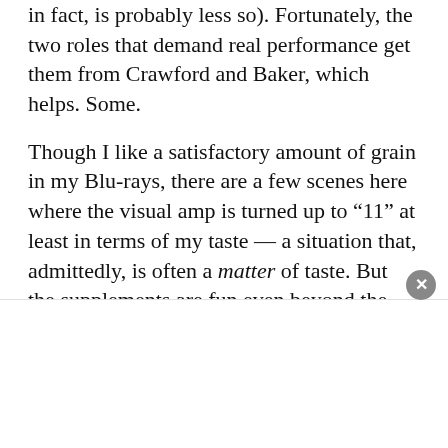in fact, is probably less so). Fortunately, the two roles that demand real performance get them from Crawford and Baker, which helps. Some.
Though I like a satisfactory amount of grain in my Blu-rays, there are a few scenes here where the visual amp is turned up to “11” at least in terms of my taste — a situation that, admittedly, is often a matter of taste. But the supplements are fun even beyond the backgrounding voiceover, which is just what you want with Castle’s kind of exploitation fare: jokey and knowledgeable. So in addition, we get screen tests and a fun “making-of” documentary carried over from a long-ago DVD but also a pair of juicy new featurettes. One is an interview with Anne Helm — turning 80 in